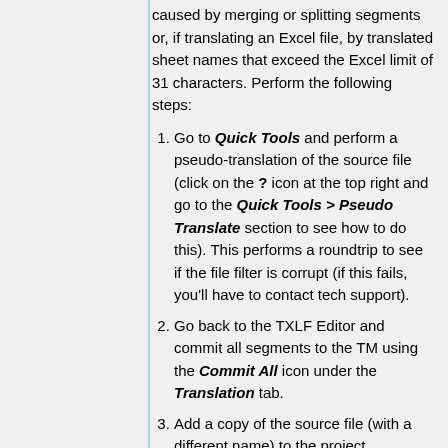caused by merging or splitting segments or, if translating an Excel file, by translated sheet names that exceed the Excel limit of 31 characters. Perform the following steps:
1. Go to Quick Tools and perform a pseudo-translation of the source file (click on the ? icon at the top right and go to the Quick Tools > Pseudo Translate section to see how to do this). This performs a roundtrip to see if the file filter is corrupt (if this fails, you'll have to contact tech support).
2. Go back to the TXLF Editor and commit all segments to the TM using the Commit All icon under the Translation tab.
3. Add a copy of the source file (with a different name) to the project.